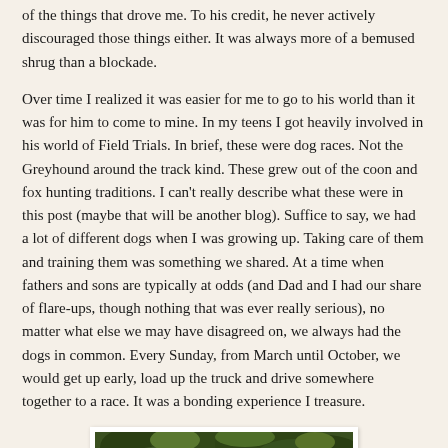of the things that drove me. To his credit, he never actively discouraged those things either. It was always more of a bemused shrug than a blockade.
Over time I realized it was easier for me to go to his world than it was for him to come to mine. In my teens I got heavily involved in his world of Field Trials. In brief, these were dog races. Not the Greyhound around the track kind. These grew out of the coon and fox hunting traditions. I can't really describe what these were in this post (maybe that will be another blog). Suffice to say, we had a lot of different dogs when I was growing up. Taking care of them and training them was something we shared. At a time when fathers and sons are typically at odds (and Dad and I had our share of flare-ups, though nothing that was ever really serious), no matter what else we may have disagreed on, we always had the dogs in common. Every Sunday, from March until October, we would get up early, load up the truck and drive somewhere together to a race. It was a bonding experience I treasure.
[Figure (photo): A photograph showing people outdoors with green foliage in the background, partially visible at the bottom of the page.]